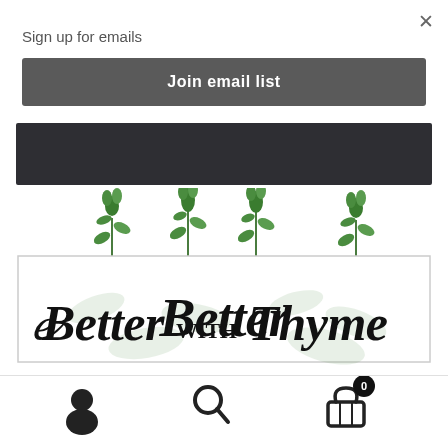Sign up for emails
Join email list
[Figure (logo): Better with Thyme logo with herb plants growing above a script text logo inside a white bordered box]
[Figure (infographic): Bottom navigation icons: user/account icon, search magnifying glass icon, shopping cart with 0 badge]